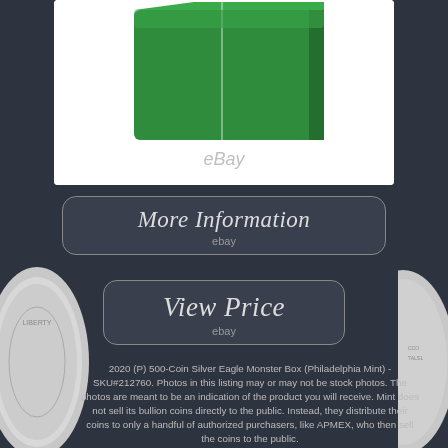[Figure (photo): Green Monster Box for Silver Eagle coins, white background, eBay watermark]
[Figure (other): More Information button with eBay label]
[Figure (other): View Price button with eBay label]
2020 (P) 500-Coin Silver Eagle Monster Box (Philadelphia Mint) - SKU#212760. Photos in this listing may or may not be stock photos. The photos are meant to be an indication of the product you will receive. Mint does not sell its bullion coins directly to the public. Instead, they distribute their coins to only a handful of authorized purchasers, like APMEX, who then sell the coins to the public.
Weinman's famed design depicting Lady Liberty draped in an American flag, walking gracefully as the sun rises over a ridge. Reverse: A heraldic eagle is shown below 13 small stars, representing the original 13 colonies. Sovereign coin backed by the U.